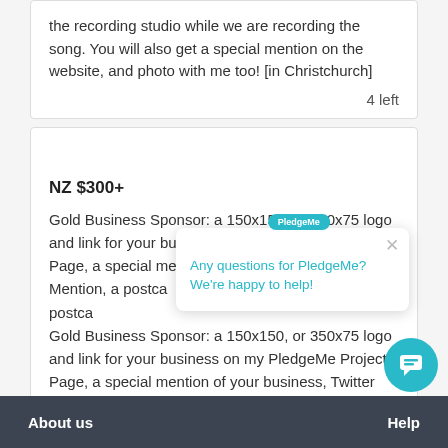the recording studio while we are recording the song. You will also get a special mention on the website, and photo with me too! [in Christchurch]
4 left
NZ $300+
Gold Business Sponsor: a 150x150, or 350x75 logo and link for your business on my PledgeMe Project Page, a special mention of your business, Twitter Mention, a postcard, 'The Emotion'.
[Figure (screenshot): PledgeMe chat popup widget showing teal bubble icon with 'PledgMe' text, a close X button, and text 'Any questions for PledgeMe? We're happy to help!' in teal color. A teal circular chat button is at bottom right.]
About us    Help